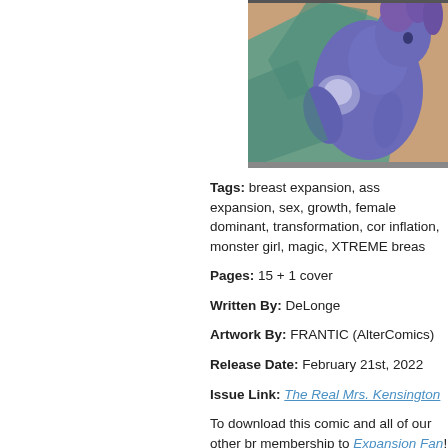[Figure (illustration): Partial comic panel showing a blue-skinned monster girl figure with purple tentacle-like hair, wearing teal/green garment, on a warm background. Image is cropped and extends off right edge of visible area.]
Tags: breast expansion, ass expansion, sex, growth, female dominant, transformation, cor inflation, monster girl, magic, XTREME breas
Pages: 15 + 1 cover
Written By: DeLonge
Artwork By: FRANTIC (AlterComics)
Release Date: February 21st, 2022
Issue Link: The Real Mrs. Kensington
To download this comic and all of our other br membership to Expansion Fan!
ALSO: